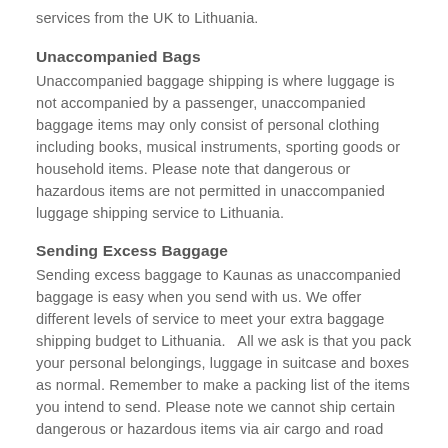services from the UK to Lithuania.
Unaccompanied Bags
Unaccompanied baggage shipping is where luggage is not accompanied by a passenger, unaccompanied baggage items may only consist of personal clothing including books, musical instruments, sporting goods or household items. Please note that dangerous or hazardous items are not permitted in unaccompanied luggage shipping service to Lithuania.
Sending Excess Baggage
Sending excess baggage to Kaunas as unaccompanied baggage is easy when you send with us. We offer different levels of service to meet your extra baggage shipping budget to Lithuania.   All we ask is that you pack your personal belongings, luggage in suitcase and boxes as normal. Remember to make a packing list of the items you intend to send. Please note we cannot ship certain dangerous or hazardous items via air cargo and road